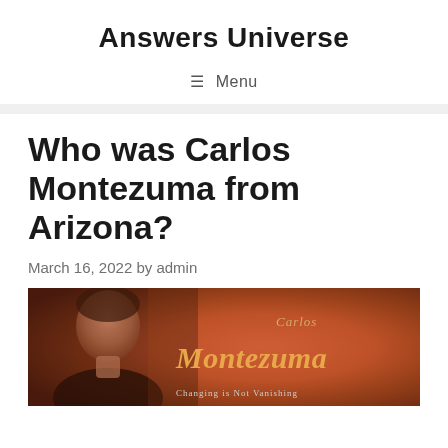Answers Universe
≡ Menu
Who was Carlos Montezuma from Arizona?
March 16, 2022 by admin
[Figure (photo): Book cover or promotional image for Carlos Montezuma featuring a portrait photo on the left side and text reading 'Carlos Montezuma' in orange/gold stylized font, with subtitle 'Changing is Not Vanishing' visible at the bottom, set against a warm reddish-brown background.]